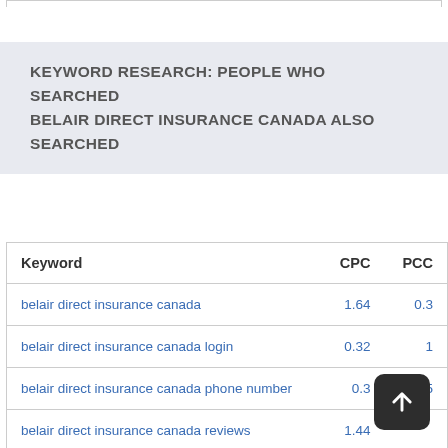KEYWORD RESEARCH: PEOPLE WHO SEARCHED BELAIR DIRECT INSURANCE CANADA ALSO SEARCHED
| Keyword | CPC | PCC |
| --- | --- | --- |
| belair direct insurance canada | 1.64 | 0.3 |
| belair direct insurance canada login | 0.32 | 1 |
| belair direct insurance canada phone number | 0.3 | 0.5 |
| belair direct insurance canada reviews | 1.44 |  |
| belair direct insurance canada contact | 1.12 | 0.5 |